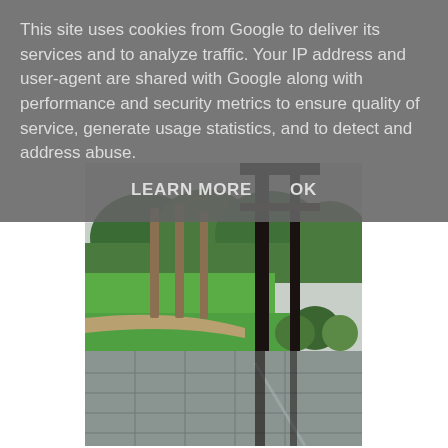This site uses cookies from Google to deliver its services and to analyze traffic. Your IP address and user-agent are shared with Google along with performance and security metrics to ensure quality of service, generate usage statistics, and to detect and address abuse.
LEARN MORE    OK
[Figure (photo): Outdoor garden/patio scene viewed through a dark metal pergola or gate structure. Background shows tall palm trees, green lawn, shrubs and hedges. Foreground shows a wet stone/slate patio with rectangular tiles. The scene appears to be on an overcast day.]